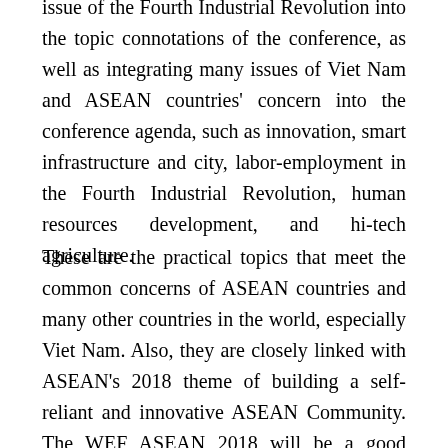issue of the Fourth Industrial Revolution into the topic connotations of the conference, as well as integrating many issues of Viet Nam and ASEAN countries' concern into the conference agenda, such as innovation, smart infrastructure and city, labor-employment in the Fourth Industrial Revolution, human resources development, and hi-tech agriculture.
These are the practical topics that meet the common concerns of ASEAN countries and many other countries in the world, especially Viet Nam. Also, they are closely linked with ASEAN's 2018 theme of building a self-reliant and innovative ASEAN Community. The WEF ASEAN 2018 will be a good opportunity for the parties to meet and share their experience, as well as to get best